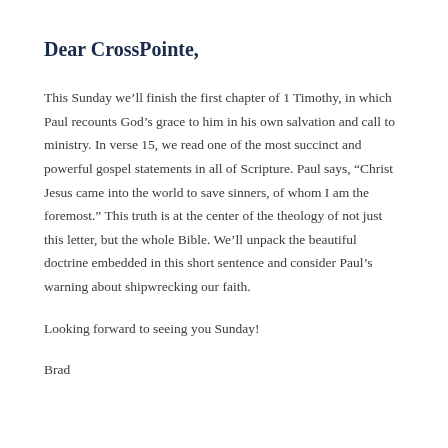Dear CrossPointe,
This Sunday we'll finish the first chapter of 1 Timothy, in which Paul recounts God's grace to him in his own salvation and call to ministry. In verse 15, we read one of the most succinct and powerful gospel statements in all of Scripture. Paul says, “Christ Jesus came into the world to save sinners, of whom I am the foremost.” This truth is at the center of the theology of not just this letter, but the whole Bible. We’ll unpack the beautiful doctrine embedded in this short sentence and consider Paul’s warning about shipwrecking our faith.
Looking forward to seeing you Sunday!
Brad